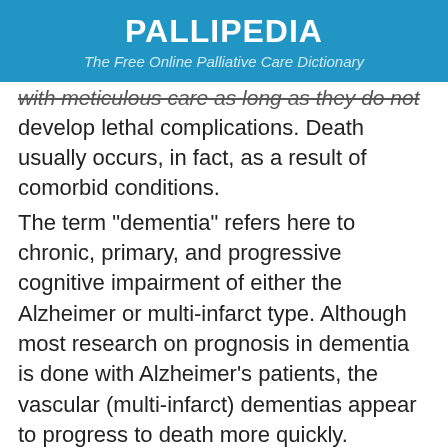PALLIPEDIA
The Free Online Palliative Care Dictionary
with meticulous care as long as they do not develop lethal complications. Death usually occurs, in fact, as a result of comorbid conditions.
The term "dementia" refers here to chronic, primary, and progressive cognitive impairment of either the Alzheimer or multi-infarct type. Although most research on prognosis in dementia is done with Alzheimer's patients, the vascular (multi-infarct) dementias appear to progress to death more quickly.
These guidelines do not refer to acute,